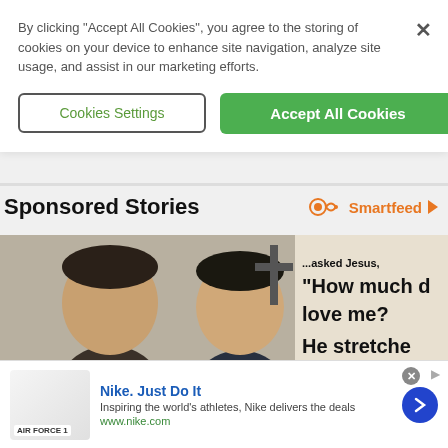By clicking “Accept All Cookies”, you agree to the storing of cookies on your device to enhance site navigation, analyze site usage, and assist in our marketing efforts.
Cookies Settings
Accept All Cookies
Sponsored Stories
Smartfeed
[Figure (photo): Two people smiling in front of a wall with text reading '...asked Jesus, How much d... love me? He stretche...']
Nike. Just Do It
Inspiring the world’s athletes, Nike delivers the deals
www.nike.com